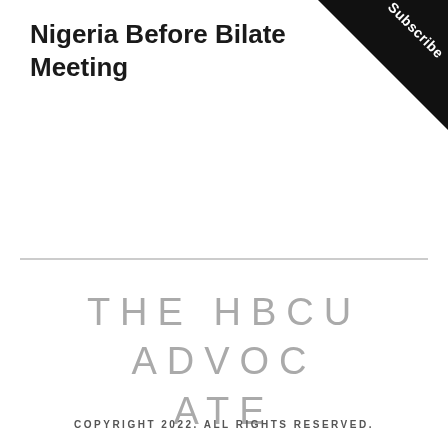Nigeria Before Bilateral Meeting
[Figure (other): Subscribe banner ribbon in top-right corner]
THE HBCU ADVOCATE
COPYRIGHT 2022. ALL RIGHTS RESERVED.